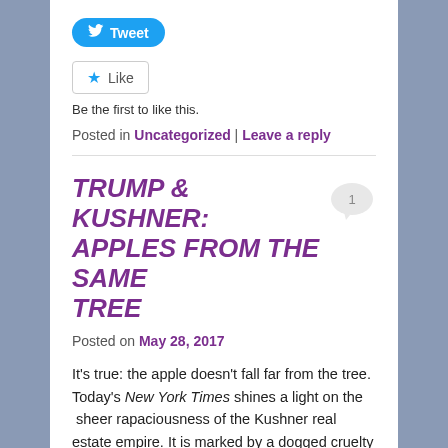[Figure (other): Twitter Tweet button - blue rounded button with bird icon and 'Tweet' text]
[Figure (other): Facebook Like button - white box with blue star icon and 'Like' text]
Be the first to like this.
Posted in Uncategorized | Leave a reply
TRUMP & KUSHNER: APPLES FROM THE SAME TREE
Posted on May 28, 2017
It's true: the apple doesn't fall far from the tree. Today's New York Times shines a light on the  sheer rapaciousness of the Kushner real estate empire. It is marked by a dogged cruelty and sheer lack of humanity that, well, frankly made my skin crawl. Anyone who has read the numerous books and articles on the Trump